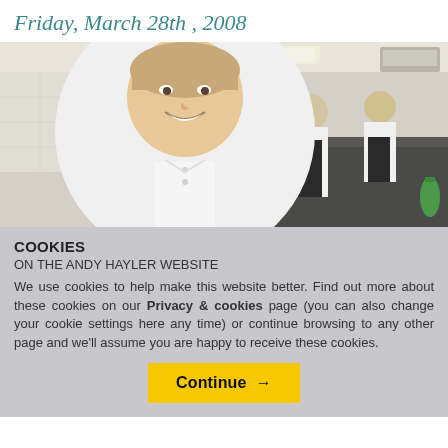Friday, March 28th , 2008
[Figure (photo): A smiling female chef in a white chef's jacket in the foreground of a professional kitchen, with two other cooks working in the background.]
COOKIES
ON THE ANDY HAYLER WEBSITE
We use cookies to help make this website better. Find out more about these cookies on our Privacy & cookies page (you can also change your cookie settings here any time) or continue browsing to any other page and we'll assume you are happy to receive these cookies.